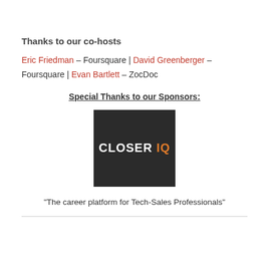Thanks to our co-hosts
Eric Friedman – Foursquare | David Greenberger – Foursquare | Evan Bartlett – ZocDoc
Special Thanks to our Sponsors:
[Figure (logo): CloserIQ logo — dark background with white 'CLOSER' and orange 'IQ' text]
“The career platform for Tech-Sales Professionals”